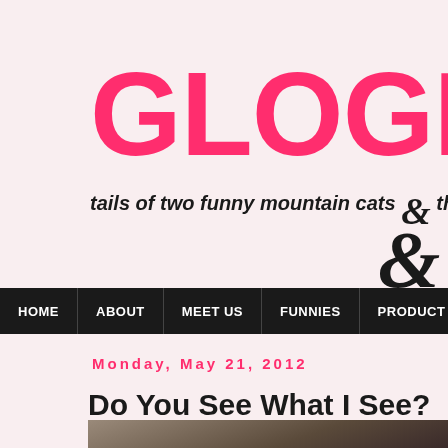GLOGIRL
tails of two funny mountain cats & thei
HOME | ABOUT | MEET US | FUNNIES | PRODUCT REVIEWS | AN
Monday, May 21, 2012
Do You See What I See?
[Figure (photo): Partial photo of a cat, visible at the bottom of the page]